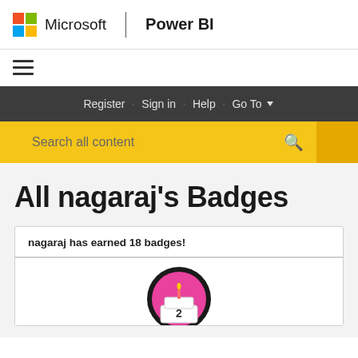Microsoft | Power BI
[Figure (screenshot): Navigation bar with hamburger menu icon]
[Figure (screenshot): Dark navigation bar with Register, Sign in, Help, Go To links]
[Figure (screenshot): Yellow search bar with 'Search all content' placeholder text]
All nagaraj's Badges
nagaraj has earned 18 badges!
[Figure (illustration): Badge icon showing a birthday cake with number 2 candle inside a pink and black circular badge]